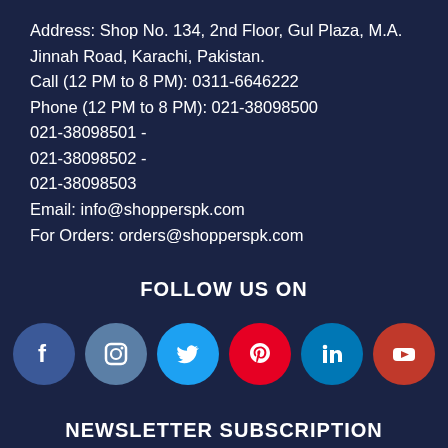Address: Shop No. 134, 2nd Floor, Gul Plaza, M.A. Jinnah Road, Karachi, Pakistan.
Call (12 PM to 8 PM): 0311-6646222
Phone (12 PM to 8 PM): 021-38098500
021-38098501 -
021-38098502 -
021-38098503
Email: info@shopperspk.com
For Orders: orders@shopperspk.com
FOLLOW US ON
[Figure (infographic): Row of 6 social media icon circles: Facebook (dark blue), Instagram (medium blue), Twitter (light blue), Pinterest (red), LinkedIn (blue), YouTube (dark red)]
NEWSLETTER SUBSCRIPTION